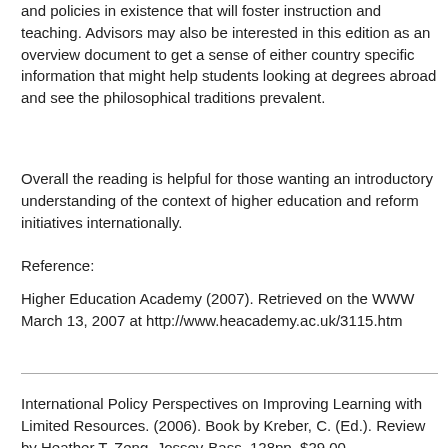and policies in existence that will foster instruction and teaching. Advisors may also be interested in this edition as an overview document to get a sense of either country specific information that might help students looking at degrees abroad and see the philosophical traditions prevalent.
Overall the reading is helpful for those wanting an introductory understanding of the context of higher education and reform initiatives internationally.
Reference:
Higher Education Academy (2007). Retrieved on the WWW March 13, 2007 at http://www.heacademy.ac.uk/3115.htm
International Policy Perspectives on Improving Learning with Limited Resources. (2006). Book by Kreber, C. (Ed.). Review by Heather T. Zeng. Jossey-Bass. 128pp. $29.00